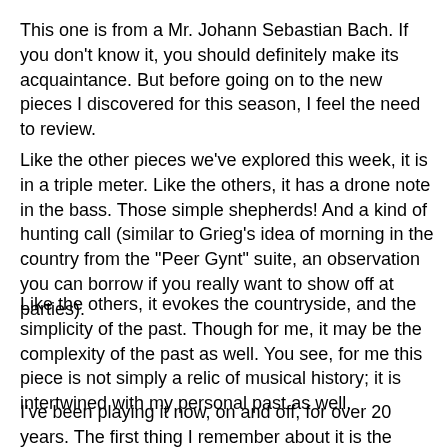This one is from a Mr. Johann Sebastian Bach. If you don't know it, you should definitely make its acquaintance. But before going on to the new pieces I discovered for this season, I feel the need to review.
Like the other pieces we've explored this week, it is in a triple meter. Like the others, it has a drone note in the bass. Those simple shepherds! And a kind of hunting call (similar to Grieg's idea of morning in the country from the "Peer Gynt" suite, an observation you can borrow if you really want to show off at parties).
Like the others, it evokes the countryside, and the simplicity of the past. Though for me, it may be the complexity of the past as well. You see, for me this piece is not simply a relic of musical history; it is intertwined with my personal past as well.
I've been playing it now, on and off, for over 20 years. The first thing I remember about it is the organist from my very first church job mentioning his own Christmas tradition of